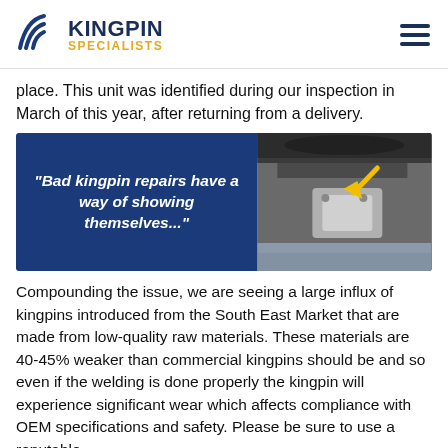KINGPIN SPECIALISTS
place. This unit was identified during our inspection in March of this year, after returning from a delivery.
[Figure (photo): Promotional image with dark blue background on the left showing the quote 'Bad kingpin repairs have a way of showing themselves...' in bold italic white text, and a photo on the right showing an undercarriage/kingpin component with a yellow arrow pointing to it.]
Compounding the issue, we are seeing a large influx of kingpins introduced from the South East Market that are made from low-quality raw materials. These materials are 40-45% weaker than commercial kingpins should be and so even if the welding is done properly the kingpin will experience significant wear which affects compliance with OEM specifications and safety. Please be sure to use a reputable